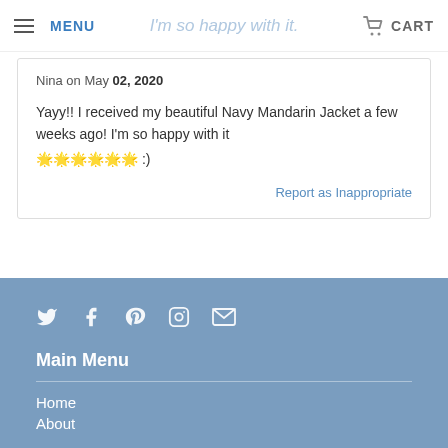MENU | I'm so happy with it. | CART
Nina on May 02, 2020

Yayy!! I received my beautiful Navy Mandarin Jacket a few weeks ago! I'm so happy with it
🌟🌟🌟🌟🌟🌟 :)
Report as Inappropriate
[Figure (infographic): Footer with social media icons: Twitter, Facebook, Pinterest, Instagram, Email]
Main Menu
Home
About